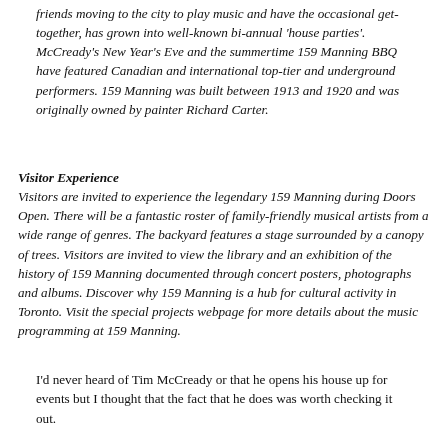friends moving to the city to play music and have the occasional get-together, has grown into well-known bi-annual 'house parties'. McCready's New Year's Eve and the summertime 159 Manning BBQ have featured Canadian and international top-tier and underground performers. 159 Manning was built between 1913 and 1920 and was originally owned by painter Richard Carter.
Visitor Experience
Visitors are invited to experience the legendary 159 Manning during Doors Open. There will be a fantastic roster of family-friendly musical artists from a wide range of genres. The backyard features a stage surrounded by a canopy of trees. Visitors are invited to view the library and an exhibition of the history of 159 Manning documented through concert posters, photographs and albums. Discover why 159 Manning is a hub for cultural activity in Toronto. Visit the special projects webpage for more details about the music programming at 159 Manning.
I'd never heard of Tim McCready or that he opens his house up for events but I thought that the fact that he does was worth checking it out.